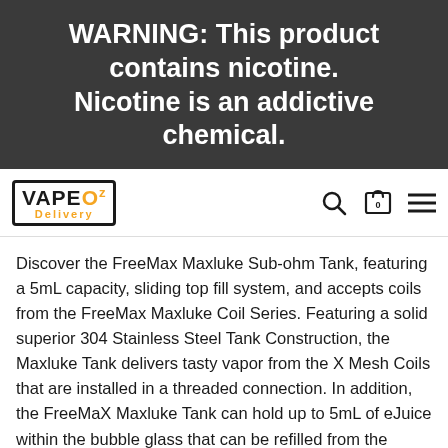WARNING: This product contains nicotine. Nicotine is an addictive chemical.
[Figure (logo): VapeOz Delivery logo with navigation icons (search, cart with 0, menu)]
Discover the FreeMax Maxluke Sub-ohm Tank, featuring a 5mL capacity, sliding top fill system, and accepts coils from the FreeMax Maxluke Coil Series. Featuring a solid superior 304 Stainless Steel Tank Construction, the Maxluke Tank delivers tasty vapor from the X Mesh Coils that are installed in a threaded connection. In addition, the FreeMaX Maxluke Tank can hold up to 5mL of eJuice within the bubble glass that can be refilled from the single port top fill system. At the base is a dual slotted airflow control ring, allowing careful metered airflow to reach the center of the coil to create the